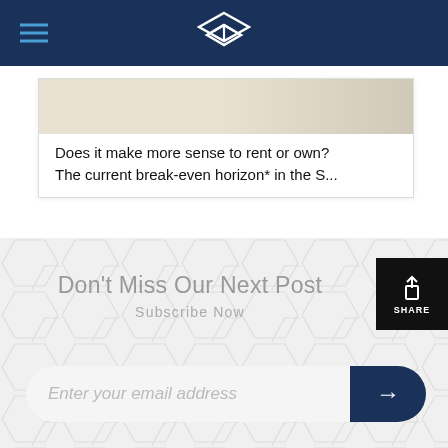Navigation header with logo and hamburger menu
Does it make more sense to rent or own?
The current break-even horizon* in the S...
Don't Miss Our Next Post
Subscribe Now
Enter your email address